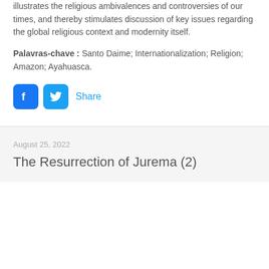illustrates the religious ambivalences and controversies of our times, and thereby stimulates discussion of key issues regarding the global religious context and modernity itself.
Palavras-chave : Santo Daime; Internationalization; Religion; Amazon; Ayahuasca.
[Figure (other): Facebook and Twitter share buttons with 'Share' label]
August 25, 2022
The Resurrection of Jurema (2)